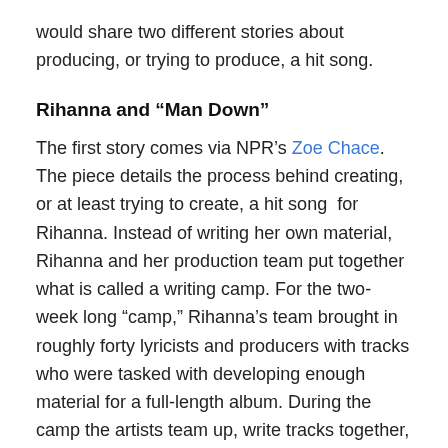would share two different stories about producing, or trying to produce, a hit song.
Rihanna and “Man Down”
The first story comes via NPR’s Zoe Chace. The piece details the process behind creating, or at least trying to create, a hit song  for Rihanna. Instead of writing her own material, Rihanna and her production team put together what is called a writing camp. For the two-week long “camp,” Rihanna’s team brought in roughly forty lyricists and producers with tracks who were tasked with developing enough material for a full-length album. During the camp the artists team up, write tracks together, and then pitch them to Rihanna and her producers. At the end of the camp, Rihanna’s team picked eleven songs and paid each writing team for the rights. According to the